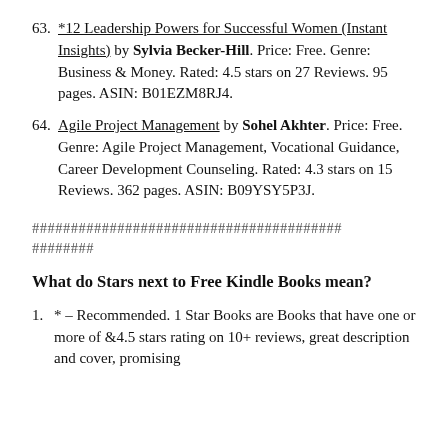63. *12 Leadership Powers for Successful Women (Instant Insights) by Sylvia Becker-Hill. Price: Free. Genre: Business & Money. Rated: 4.5 stars on 27 Reviews. 95 pages. ASIN: B01EZM8RJ4.
64. Agile Project Management by Sohel Akhter. Price: Free. Genre: Agile Project Management, Vocational Guidance, Career Development Counseling. Rated: 4.3 stars on 15 Reviews. 362 pages. ASIN: B09YSY5P3J.
########################################
########
What do Stars next to Free Kindle Books mean?
1. * – Recommended. 1 Star Books are Books that have one or more of &4.5 stars rating on 10+ reviews, great description and cover, promising